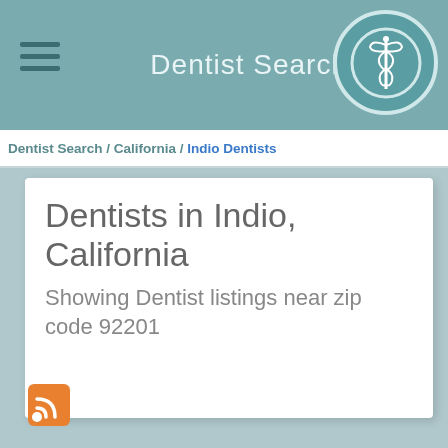Dentist Search
Dentist Search / California / Indio Dentists
Dentists in Indio, California
Showing Dentist listings near zip code 92201
[Figure (logo): RSS feed icon, orange square with white wifi-style signal arcs]